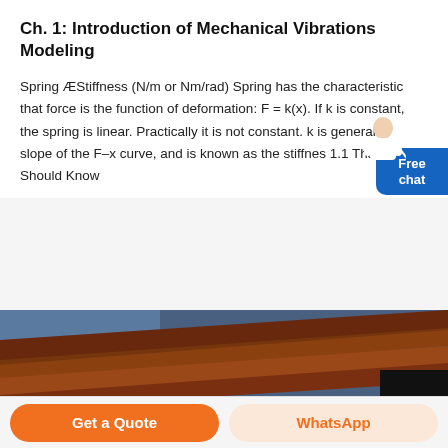Ch. 1: Introduction of Mechanical Vibrations Modeling
Spring ÆStiffness (N/m or Nm/rad) Spring has the characteristic that force is the function of deformation: F = k(x). If k is constant, the spring is linear. Practically it is not constant. k is generally slope of the F–x curve, and is known as the stiffnes 1.1 That You Should Know
[Figure (photo): Photo of metal structural components (steel beams/springs) stacked together, shown from a low angle]
Get a Quote
WhatsApp